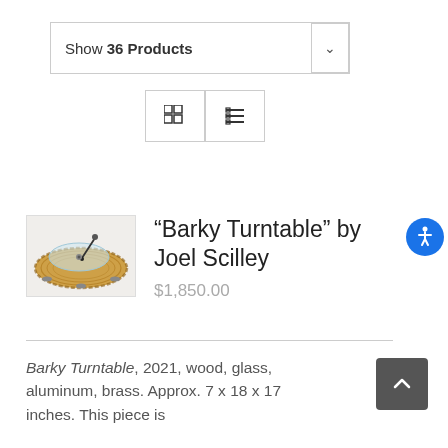Show 36 Products
[Figure (screenshot): View toggle buttons: grid view and list view icons]
[Figure (photo): Photo of a turntable made of wood with a glass platter, the Barky Turntable by Joel Scilley]
“Barky Turntable” by Joel Scilley
$1,850.00
Barky Turntable, 2021, wood, glass, aluminum, brass. Approx. 7 x 18 x 17 inches. This piece is